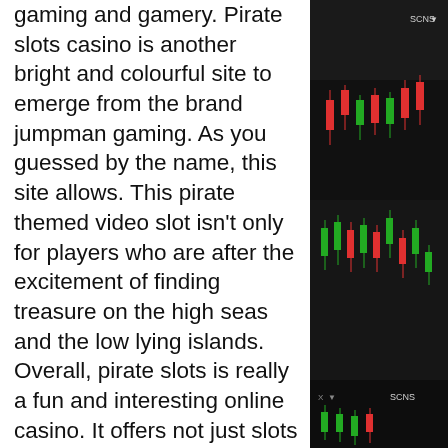gaming and gamery. Pirate slots casino is another bright and colourful site to emerge from the brand jumpman gaming. As you guessed by the name, this site allows. This pirate themed video slot isn't only for players who are after the excitement of finding treasure on the high seas and the low lying islands. Overall, pirate slots is really a fun and interesting online casino. It offers not just slots but also other types of table and card games from. Ahoy, matey! ready to hoist the ol' jolly roger? buried chests, cannon balls, and treasure maps await in the arrogant pirates slot. In our review, we reveal. Pirate slots is a jumpman slots site with the new match up bonus wheel welcome offer - top prize 1000% slots bonus! Get along the pirate ship of pirates slots casino's chest full of welcome bonuses and weekly promotions. To know more about this new and fresh online casino As a megaways
[Figure (other): Dark background stock market candlestick chart showing red and green candlesticks with price movements]